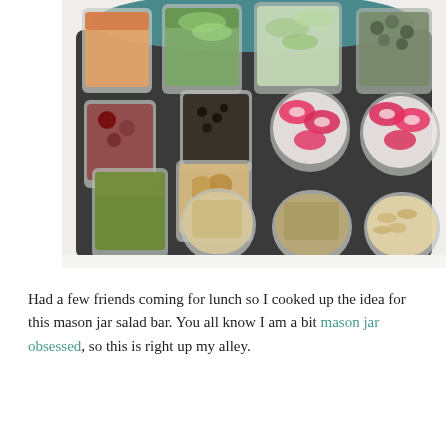[Figure (photo): A photograph of a mason jar salad bar: multiple glass mason jars and small round glass containers arranged on a dark slate board. Jars contain various salad toppings including carrots, cucumber slices, green vegetables, olives, berries, pesto, walnuts, radishes, seeds, and sliced almonds. Background is white.]
Had a few friends coming for lunch so I cooked up the idea for this mason jar salad bar. You all know I am a bit mason jar obsessed, so this is right up my alley.